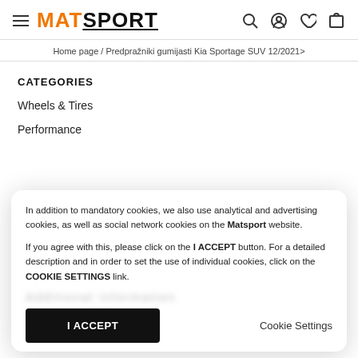MATSPORT
Home page / Predpražniki gumijasti Kia Sportage SUV 12/2021>
CATEGORIES
Wheels & Tires
Performance
In addition to mandatory cookies, we also use analytical and advertising cookies, as well as social network cookies on the Matsport website.

If you agree with this, please click on the I ACCEPT button. For a detailed description and in order to set the use of individual cookies, click on the COOKIE SETTINGS link.
I ACCEPT
Cookie Settings